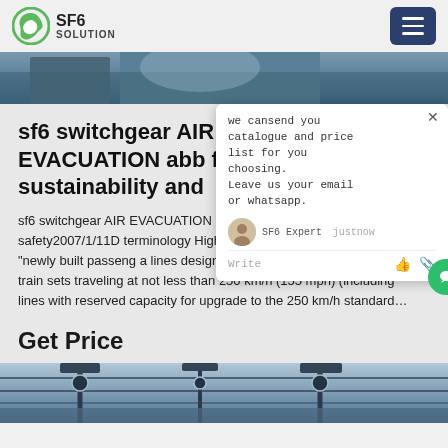SF6 SOLUTION
[Figure (photo): Partial view of a person in work/industrial setting, top image strip]
sf6 switchgear AIR EVACUATION abb for sustainability and
sf6 switchgear AIR EVACUATION a sustainability and safety2007/1/11D terminology High speed rail in China defined as "newly built passeng a lines designed for electrical multiple unit (EMU) train sets traveling at not less than 250 km/h (155 mph) (including lines with reserved capacity for upgrade to the 250 km/h standard...
we cansend you catalogue and price list for you choosing.
Leave us your email or whatsapp.
SF6 Expert  justnow
Write
Get Price
[Figure (photo): Electrical infrastructure / power lines and equipment, bottom image strip]